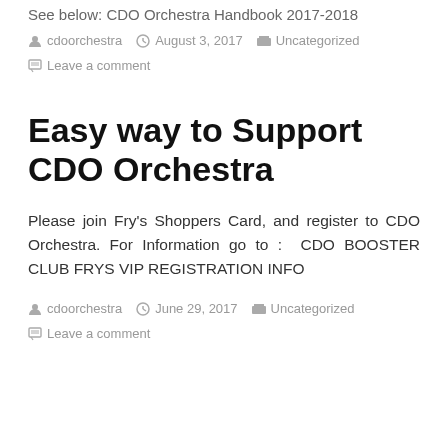See below: CDO Orchestra Handbook 2017-2018
cdoorchestra   August 3, 2017   Uncategorized
Leave a comment
Easy way to Support CDO Orchestra
Please join Fry's Shoppers Card, and register to CDO Orchestra. For Information go to :  CDO BOOSTER CLUB FRYS VIP REGISTRATION INFO
cdoorchestra   June 29, 2017   Uncategorized
Leave a comment